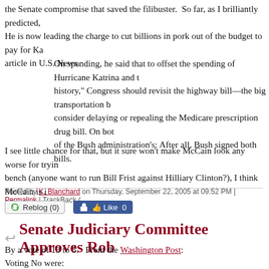the Senate compromise that saved the filibuster.  So far, as I brilliantly predicted, He is now leading the charge to cut billions in pork out of the budget to pay for Ka article in U.S. News.
On spending, he said that to offset the spending of Hurricane Katrina and t history," Congress should revisit the highway bill—the big transportation b consider delaying or repealing the Medicare prescription drug bill. On bot of the Bush administration's: After all, Bush signed both bills.
I see little chance for that, but it sure won't make McCain look any worse for tryin bench (anyone want to run Bill Frist against Hilliary Clinton?), I think McCain is i
Posted by K. Blanchard on Thursday, September 22, 2005 at 09:52 PM | Permalink | TrackBack (
Reblog (0)   Like 0
Senate Judiciary Committee Approves Rob
By a vote of 13 to 5.   From the Washington Post:
Voting No were:
Sen. Edward M. Kennedy (Mass.),
Joseph Biden (Del.),
Dianne Feinstein (Calif.) ,
Charles Schumer (N.Y.) and
Dick Durbin (Ill.)
Ro... Voting No...